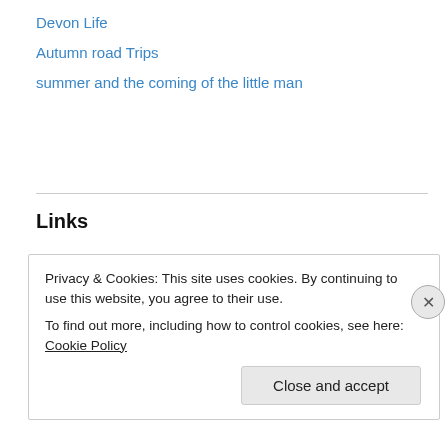Devon Life
Autumn road Trips
summer and the coming of the little man
Links
Gene17kayaking
Gene17kayaking flickr
Gene17kayaking Vimeo
Sjoa Kayak Camp
Sjoa River Festival
the River's Source
Privacy & Cookies: This site uses cookies. By continuing to use this website, you agree to their use. To find out more, including how to control cookies, see here: Cookie Policy
Close and accept